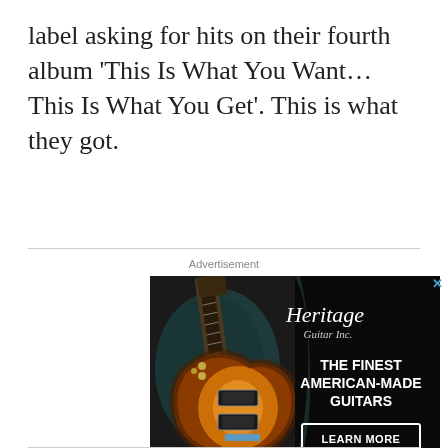label asking for hits on their fourth album ‘This Is What You Want… This Is What You Get’. This is what they got.
Advertisement
[Figure (photo): Heritage Guitar Inc. advertisement featuring a sunburst Les Paul-style electric guitar in a blue velvet case against a black background, with text 'THE FINEST AMERICAN-MADE GUITARS' and a 'LEARN MORE' button.]